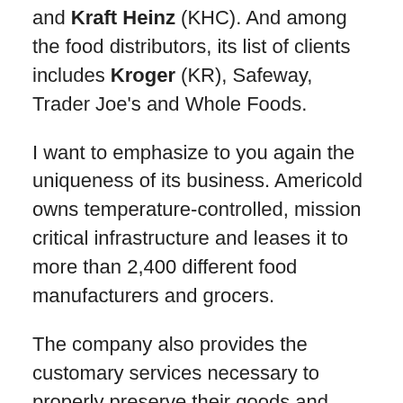and Kraft Heinz (KHC). And among the food distributors, its list of clients includes Kroger (KR), Safeway, Trader Joe's and Whole Foods.
I want to emphasize to you again the uniqueness of its business. Americold owns temperature-controlled, mission critical infrastructure and leases it to more than 2,400 different food manufacturers and grocers.
The company also provides the customary services necessary to properly preserve their goods and facilitate the movement from the point of manufacture through the supply chain to the point of consumer acquisition.
Here's an important stat: 96% of all the frozen food that you find in the grocery store comes through some company like Americold. The food manufacturers don't do